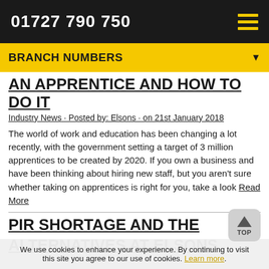01727 790 750
BRANCH NUMBERS
AN APPRENTICE AND HOW TO DO IT
Industry News · Posted by: Elsons · on 21st January 2018
The world of work and education has been changing a lot recently, with the government setting a target of 3 million apprentices to be created by 2020. If you own a business and have been thinking about hiring new staff, but you aren't sure whether taking on apprentices is right for you, take a look Read More
PIR SHORTAGE AND THE ALTERNATIVES AT ELSONS
We use cookies to enhance your experience. By continuing to visit this site you agree to our use of cookies. Learn more.